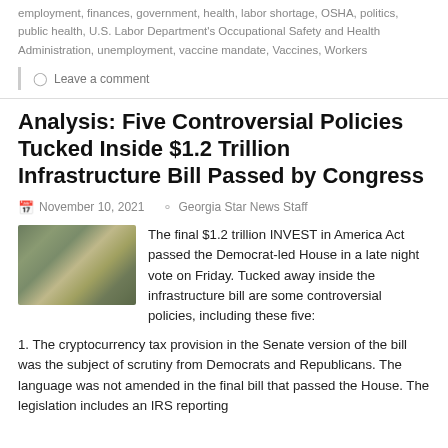employment, finances, government, health, labor shortage, OSHA, politics, public health, U.S. Labor Department's Occupational Safety and Health Administration, unemployment, vaccine mandate, Vaccines, Workers
◯ Leave a comment
Analysis: Five Controversial Policies Tucked Inside $1.2 Trillion Infrastructure Bill Passed by Congress
November 10, 2021   Georgia Star News Staff
[Figure (photo): Aerial view of a highway interchange surrounded by trees]
The final $1.2 trillion INVEST in America Act passed the Democrat-led House in a late night vote on Friday. Tucked away inside the infrastructure bill are some controversial policies, including these five:
1. The cryptocurrency tax provision in the Senate version of the bill was the subject of scrutiny from Democrats and Republicans. The language was not amended in the final bill that passed the House. The legislation includes an IRS reporting